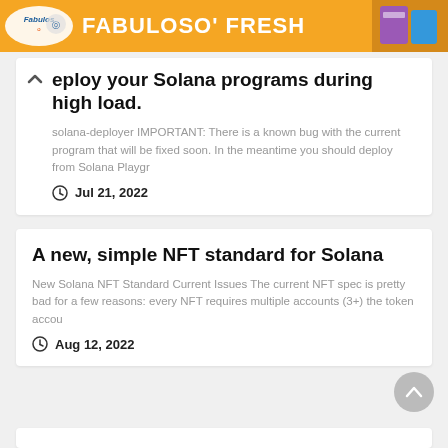[Figure (illustration): Orange Fabuloso advertisement banner with 'FABULOSO' FRESH' text and product imagery]
eploy your Solana programs during high load.
solana-deployer IMPORTANT: There is a known bug with the current program that will be fixed soon. In the meantime you should deploy from Solana Playgr
Jul 21, 2022
A new, simple NFT standard for Solana
New Solana NFT Standard Current Issues The current NFT spec is pretty bad for a few reasons: every NFT requires multiple accounts (3+) the token accou
Aug 12, 2022